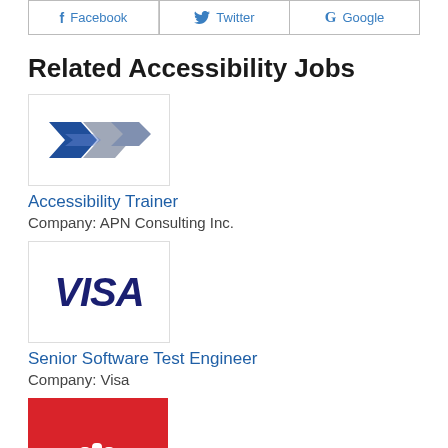[Figure (other): Social share buttons for Facebook, Twitter, and Google]
Related Accessibility Jobs
[Figure (logo): APN Consulting Inc. logo - geometric blue and grey diamond shapes]
Accessibility Trainer
Company: APN Consulting Inc.
[Figure (logo): Visa logo - blue italic bold letters on white background with light grey border]
Senior Software Test Engineer
Company: Visa
[Figure (logo): Red square logo with white fist icon]
Accessibility QA Engineer II - Production, Central QA